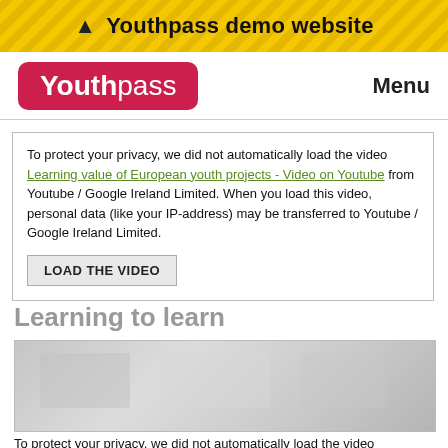Youthpass demo website
[Figure (screenshot): Youthpass logo in red rounded rectangle with 'Menu' label on right]
To protect your privacy, we did not automatically load the video Learning value of European youth projects - Video on Youtube from Youtube / Google Ireland Limited. When you load this video, personal data (like your IP-address) may be transferred to Youtube / Google Ireland Limited.
LOAD THE VIDEO
Learning to learn
[Figure (screenshot): Gray video placeholder thumbnail]
To protect your privacy, we did not automatically load the video